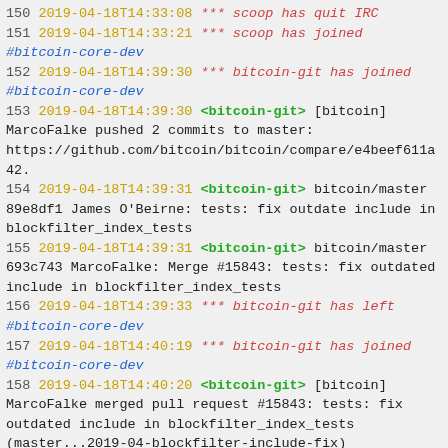150 2019-04-18T14:33:08 *** scoop has quit IRC
151 2019-04-18T14:33:21 *** scoop has joined #bitcoin-core-dev
152 2019-04-18T14:39:30 *** bitcoin-git has joined #bitcoin-core-dev
153 2019-04-18T14:39:30 <bitcoin-git> [bitcoin] MarcoFalke pushed 2 commits to master: https://github.com/bitcoin/bitcoin/compare/e4beef611a42.
154 2019-04-18T14:39:31 <bitcoin-git> bitcoin/master 89e8df1 James O'Beirne: tests: fix outdate include in blockfilter_index_tests
155 2019-04-18T14:39:31 <bitcoin-git> bitcoin/master 693c743 MarcoFalke: Merge #15843: tests: fix outdated include in blockfilter_index_tests
156 2019-04-18T14:39:33 *** bitcoin-git has left #bitcoin-core-dev
157 2019-04-18T14:40:19 *** bitcoin-git has joined #bitcoin-core-dev
158 2019-04-18T14:40:20 <bitcoin-git> [bitcoin] MarcoFalke merged pull request #15843: tests: fix outdated include in blockfilter_index_tests (master...2019-04-blockfilter-include-fix) https://github.com/bitcoin/bitcoin/pull/15843
159 2019-04-18T14:40:24 *** bitcoin-git has left #bitcoin-core-dev
160 2019-04-18T14:46:05 *** scoop has quit IRC
161 2019-04-18T14:47:24 *** jb55 has joined #bitcoin-